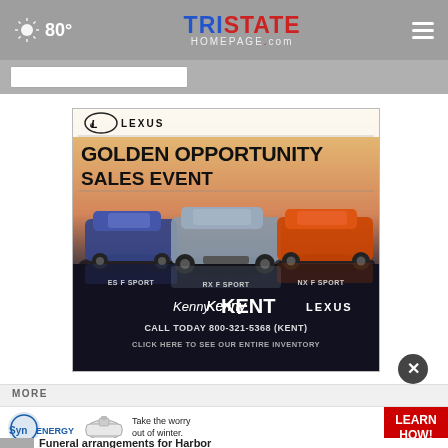80° TristateHomepage.com
[Figure (screenshot): Lexus Golden Opportunity Sales Event advertisement showing three Lexus F Sport models (ES F Sport, RX F Sport, NX F Sport) with Kenny Kent Lexus branding. Call 800-321-5368 (KENT). Click here to see our entire inventory.]
MORE
[Figure (advertisement): SynEnergy advertisement: Take the worry out of winter. LEARN HOW!]
Funeral arrangements for Harbor